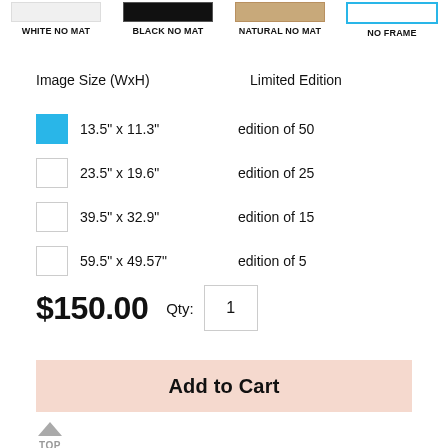[Figure (other): Four frame option swatches: WHITE NO MAT (white rectangle), BLACK NO MAT (black rectangle), NATURAL NO MAT (tan/natural rectangle), NO FRAME (empty rectangle with blue border, selected)]
WHITE NO MAT
BLACK NO MAT
NATURAL NO MAT
NO FRAME
Image Size (WxH)    Limited Edition
13.5" x 11.3"   edition of 50
23.5" x 19.6"   edition of 25
39.5" x 32.9"   edition of 15
59.5" x 49.57"  edition of 5
$150.00  Qty: 1
Add to Cart
TOP